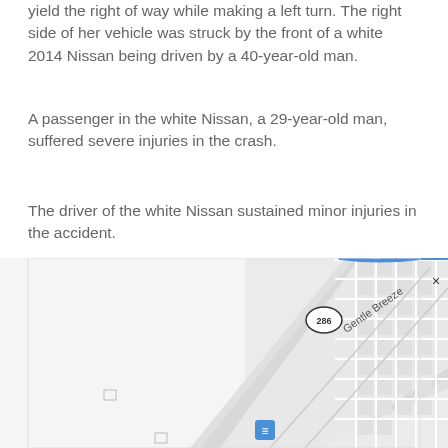yield the right of way while making a left turn. The right side of her vehicle was struck by the front of a white 2014 Nissan being driven by a 40-year-old man.
A passenger in the white Nissan, a 29-year-old man, suffered severe injuries in the crash.
The driver of the white Nissan sustained minor injuries in the accident.
The at-fault driver sustained possible wounds.
[Figure (map): Google Maps screenshot showing intersection area near Gentle Breeze road with route 286 marker, showing street grid with buildings, diagonal road running upper-right. Blue highway line and X close button visible in upper right. Navigation/location marker visible at bottom center.]